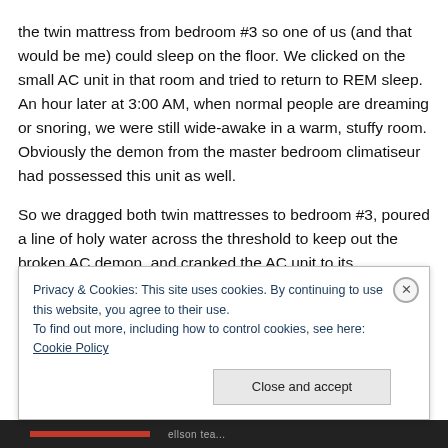the twin mattress from bedroom #3 so one of us (and that would be me) could sleep on the floor. We clicked on the small AC unit in that room and tried to return to REM sleep. An hour later at 3:00 AM, when normal people are dreaming or snoring, we were still wide-awake in a warm, stuffy room. Obviously the demon from the master bedroom climatiseur had possessed this unit as well.
So we dragged both twin mattresses to bedroom #3, poured a line of holy water across the threshold to keep out the broken AC demon, and cranked the AC unit to its
Privacy & Cookies: This site uses cookies. By continuing to use this website, you agree to their use.
To find out more, including how to control cookies, see here: Cookie Policy